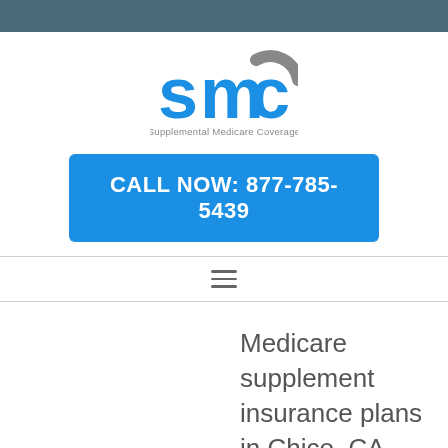[Figure (logo): SMC Supplemental Medicare Coverage logo with blue 'smc' letters and gray arc, tagline 'Supplemental Medicare Coverage']
CALL NOW: 877-785-5439
Medicare supplement insurance plans in Chico, CA 95929, Butte